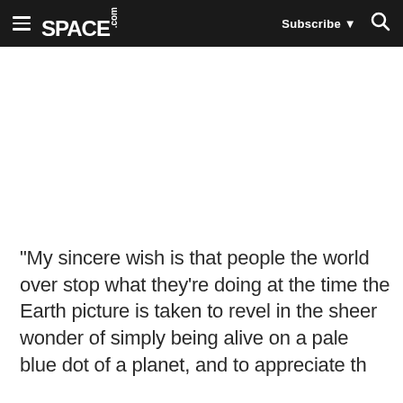SPACE.com — Subscribe — Search
"My sincere wish is that people the world over stop what they're doing at the time the Earth picture is taken to revel in the sheer wonder of simply being alive on a pale blue dot of a planet, and to appreciate the..."